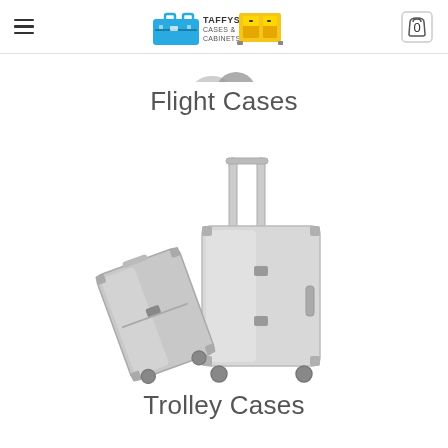Taffys Cases & Cabinets — navigation header with hamburger menu, logo, and cart icon (0 items)
[Figure (photo): Partial bottom view of flight cases/camera-style cases, cropped at top]
Flight Cases
[Figure (photo): Two silver aluminium trolley cases (luggage), one standing upright with extendable handle and one leaning, on white background]
Trolley Cases